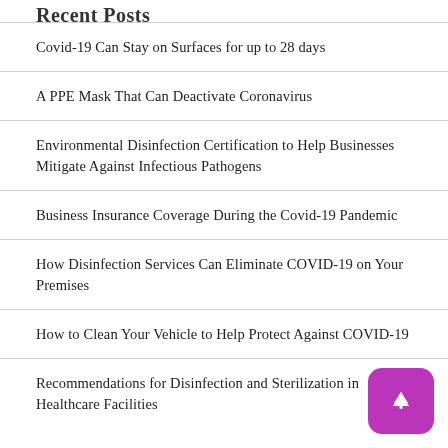Recent Posts
Covid-19 Can Stay on Surfaces for up to 28 days
A PPE Mask That Can Deactivate Coronavirus
Environmental Disinfection Certification to Help Businesses Mitigate Against Infectious Pathogens
Business Insurance Coverage During the Covid-19 Pandemic
How Disinfection Services Can Eliminate COVID-19 on Your Premises
How to Clean Your Vehicle to Help Protect Against COVID-19
Recommendations for Disinfection and Sterilization in Healthcare Facilities